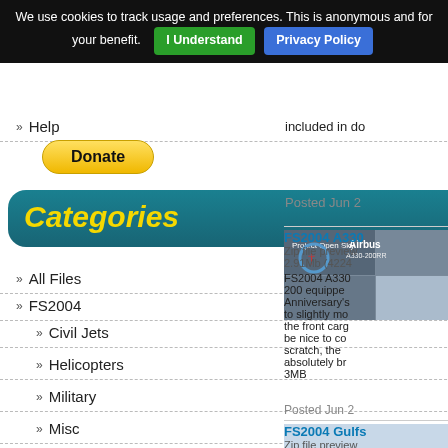We use cookies to track usage and preferences. This is anonymous and for your benefit. [I Understand] [Privacy Policy]
» Help
[Figure (other): PayPal Donate button (yellow rounded pill button)]
Categories
» All Files
» FS2004
» Civil Jets
» Helicopters
» Military
» Misc
» Panels
» Payware
» Props
» Scenery
included in do
Posted Jun 2
[Figure (photo): Project Open Sky Airbus A330-200RR aircraft liveries collage thumbnail]
FS2004 A330 - Zip file preview 2.91Mb (4224 - FS2004 A330 200 equipped Anniversary's to slightly mo the front cargo be nice to co scratch, the absolutely br 3MB
Posted Jun 2
[Figure (photo): FS2004 Gulfstream aircraft 3D render thumbnail]
FS2004 Gulfs Zip file preview 11.24Mb (762 FS2004 Gulf Freeware mo Flaps, Spoile